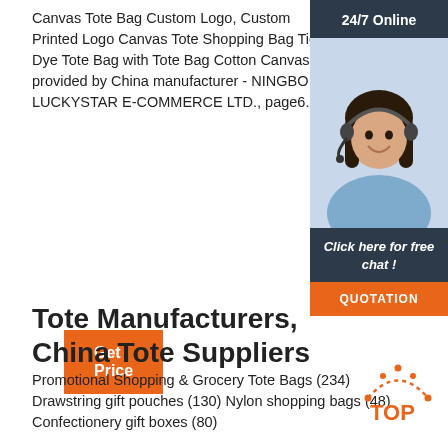Canvas Tote Bag Custom Logo, Custom Printed Logo Canvas Tote Shopping Bag Tie Dye Tote Bag with Tote Bag Cotton Canvas provided by China manufacturer - NINGBO LUCKYSTAR E-COMMERCE LTD., page6.
[Figure (illustration): 24/7 Online chat widget with a woman wearing a headset, dark blue header with '24/7 Online', footer 'Click here for free chat!', orange QUOTATION button]
Get Price
Tote Manufacturers, China Tote Suppliers
Promotional Shopping & Grocery Tote Bags (234) Drawstring gift pouches (130) Nylon shopping bags (48) Confectionery gift boxes (80)
[Figure (illustration): Orange TOP icon with dotted arc above]